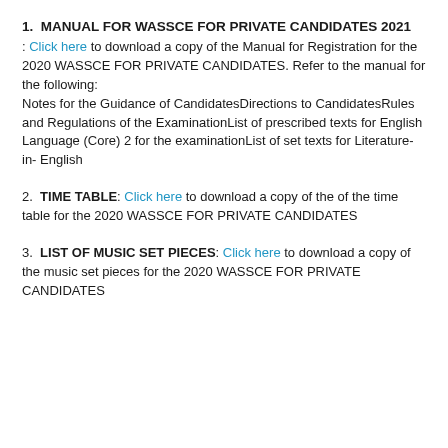1.  MANUAL FOR WASSCE FOR PRIVATE CANDIDATES 2021
: Click here to download a copy of the Manual for Registration for the 2020 WASSCE FOR PRIVATE CANDIDATES. Refer to the manual for the following:
Notes for the Guidance of CandidatesDirections to CandidatesRules and Regulations of the ExaminationList of prescribed texts for English Language (Core) 2 for the examinationList of set texts for Literature- in- English
2.  TIME TABLE: Click here to download a copy of the of the time table for the 2020 WASSCE FOR PRIVATE CANDIDATES
3.  LIST OF MUSIC SET PIECES: Click here to download a copy of the music set pieces for the 2020 WASSCE FOR PRIVATE CANDIDATES